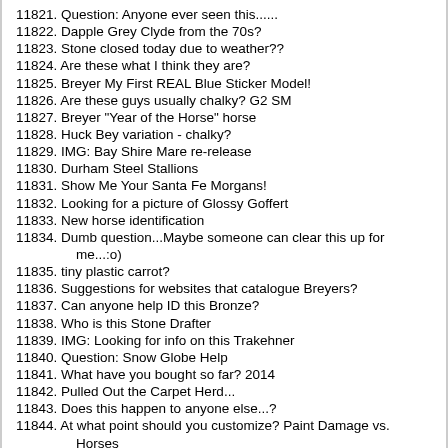11821. Question: Anyone ever seen this......
11822. Dapple Grey Clyde from the 70s?
11823. Stone closed today due to weather??
11824. Are these what I think they are?
11825. Breyer My First REAL Blue Sticker Model!
11826. Are these guys usually chalky? G2 SM
11827. Breyer "Year of the Horse" horse
11828. Huck Bey variation - chalky?
11829. IMG: Bay Shire Mare re-release
11830. Durham Steel Stallions
11831. Show Me Your Santa Fe Morgans!
11832. Looking for a picture of Glossy Goffert
11833. New horse identification
11834. Dumb question...Maybe someone can clear this up for me...:o)
11835. tiny plastic carrot?
11836. Suggestions for websites that catalogue Breyers?
11837. Can anyone help ID this Bronze?
11838. Who is this Stone Drafter
11839. IMG: Looking for info on this Trakehner
11840. Question: Snow Globe Help
11841. What have you bought so far? 2014
11842. Pulled Out the Carpet Herd...
11843. Does this happen to anyone else...?
11844. At what point should you customize? Paint Damage vs. Horses
11845. Breyer "Favory" Mystery
11846. new Valentine bags
11847. Bold Impression Conn Question
11848. It's time for a new...